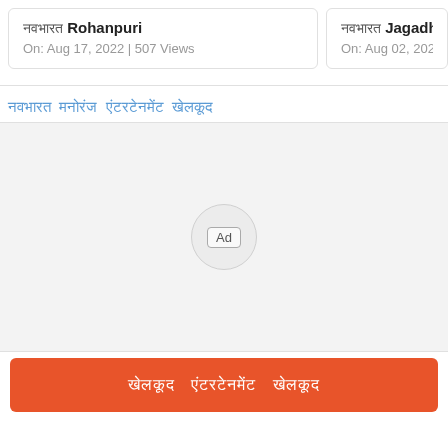नवभारत Rohanpuri — On: Aug 17, 2022 | 507 Views
नवभारत Jagadhish Ra — On: Aug 02, 2022 | 33...
नवभारत मनोरंज एंटरटेनमेंट खेलकूद
[Figure (other): Advertisement placeholder area with Ad label in a circle]
खेलकूद एंटरटेनमेंट खेलकूद